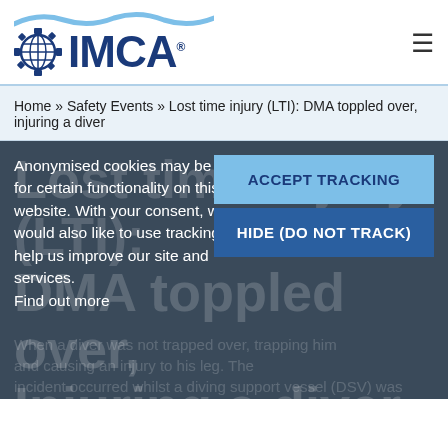[Figure (logo): IMCA logo with globe/gear icon and wave graphic above]
Home » Safety Events » Lost time injury (LTI): DMA toppled over, injuring a diver
Anonymised cookies may be used for certain functionality on this website. With your consent, we would also like to use tracking to help us improve our site and services. Find out more
ACCEPT TRACKING
HIDE (DO NOT TRACK)
Lost time injury (LTI): DMA toppled over, Injuring a diver
When a diver was not trapped over, trapping him and causing an injury to his leg. The incident occurred whilst a diving support vessel (DSV) was